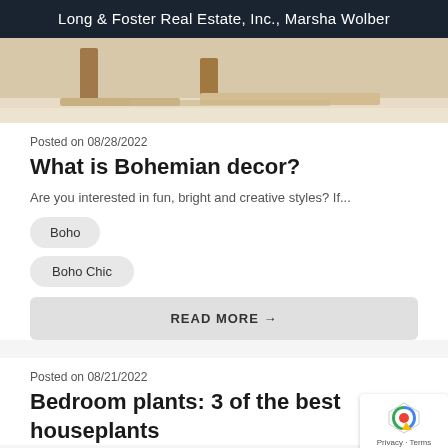Long & Foster Real Estate, Inc., Marsha Wolber
[Figure (photo): Interior room photo showing wooden furniture and light hardwood floor with a rug]
Posted on 08/28/2022
What is Bohemian decor?
Are you interested in fun, bright and creative styles? If...
Boho
Boho Chic
READ MORE →
Posted on 08/21/2022
Bedroom plants: 3 of the best houseplants